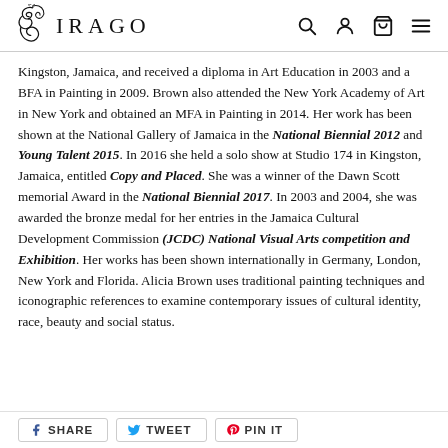SIRAGO
Kingston, Jamaica, and received a diploma in Art Education in 2003 and a BFA in Painting in 2009. Brown also attended the New York Academy of Art in New York and obtained an MFA in Painting in 2014. Her work has been shown at the National Gallery of Jamaica in the National Biennial 2012 and Young Talent 2015. In 2016 she held a solo show at Studio 174 in Kingston, Jamaica, entitled Copy and Placed. She was a winner of the Dawn Scott memorial Award in the National Biennial 2017. In 2003 and 2004, she was awarded the bronze medal for her entries in the Jamaica Cultural Development Commission (JCDC) National Visual Arts competition and Exhibition. Her works has been shown internationally in Germany, London, New York and Florida. Alicia Brown uses traditional painting techniques and iconographic references to examine contemporary issues of cultural identity, race, beauty and social status.
SHARE  TWEET  PIN IT